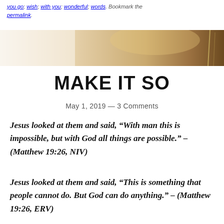you go; wish; with you; wonderful; words. Bookmark the permalink.
[Figure (photo): Sepia-toned hero image with soft gradient from cream/white on the left to a warm golden-brown bokeh background on the right, with a thin vertical element (plant stem) visible on the right side.]
MAKE IT SO
May 1, 2019 — 3 Comments
Jesus looked at them and said, “With man this is impossible, but with God all things are possible.” – (Matthew 19:26, NIV)
Jesus looked at them and said, “This is something that people cannot do. But God can do anything.” – (Matthew 19:26, ERV)